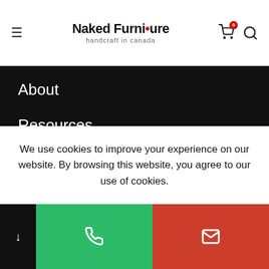Naked Furniture — handcraft in canada
About
Resources
STORE
Office
Dining
Bedroom
We use cookies to improve your experience on our website. By browsing this website, you agree to our use of cookies.